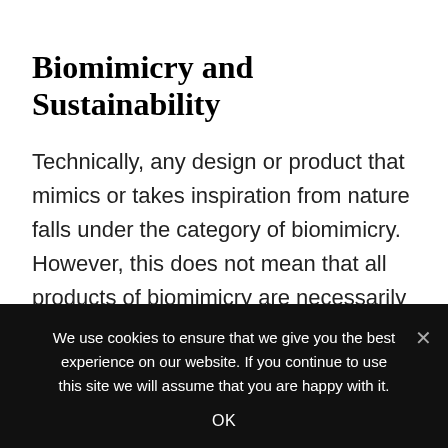Biomimicry and Sustainability
Technically, any design or product that mimics or takes inspiration from nature falls under the category of biomimicry. However, this does not mean that all products of biomimicry are necessarily sustainable. A non-architectural example is Velcro, which mimicked the hook-like surface of burdock seeds. Velcro, despite being a product of biomimicry, is not necessarily sustainable. There thus exists an
We use cookies to ensure that we give you the best experience on our website. If you continue to use this site we will assume that you are happy with it.
OK